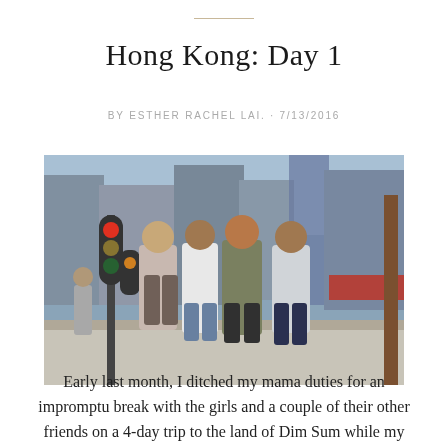Hong Kong: Day 1
BY ESTHER RACHEL LAI. · 7/13/2016
[Figure (photo): Four young women walking together on a busy urban street in Hong Kong, with traffic lights and storefronts visible in the background. The photo is taken in bright daylight.]
Early last month, I ditched my mama duties for an impromptu break with the girls and a couple of their other friends on a 4-day trip to the land of Dim Sum while my dearest husband, Shane took